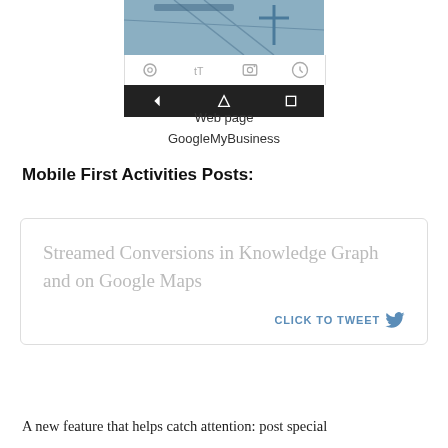[Figure (screenshot): Mobile phone screenshot showing GoogleMyBusiness web page with toolbar icons and Android navigation bar]
Web page
GoogleMyBusiness
Mobile First Activities Posts:
Streamed Conversions in Knowledge Graph and on Google Maps
CLICK TO TWEET
A new feature that helps catch attention: post special